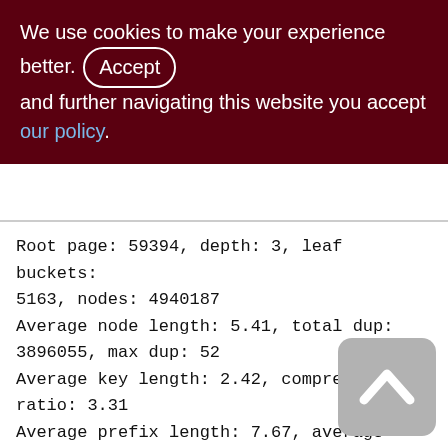We use cookies to make your experience better. By accepting and further navigating this website you accept our policy.
Root page: 59394, depth: 3, leaf buckets: 5163, nodes: 4940187
Average node length: 5.41, total dup: 3896055, max dup: 52
Average key length: 2.42, compression ratio: 3.31
Average prefix length: 7.67, average data length: 0.32
Clustering factor: 2428239, ratio: 0.49
Fill distribution:
0 - 19% = 6
20 - 39% = 0
40 - 59% = 2569